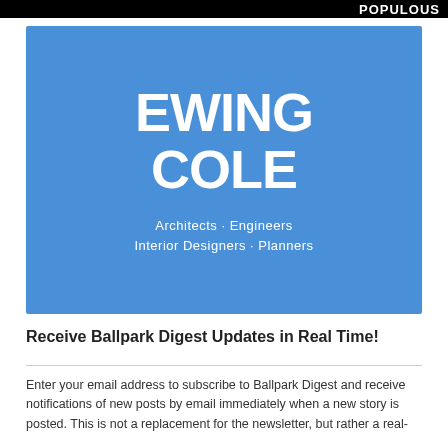POPULOUS
[Figure (logo): Ewing Cole logo on blue background. Large white bold text reads EWING COLE, with subtitle: Architects · Engineers / Interior Designers · Planners]
Receive Ballpark Digest Updates in Real Time!
Enter your email address to subscribe to Ballpark Digest and receive notifications of new posts by email immediately when a new story is posted. This is not a replacement for the newsletter, but rather a real-